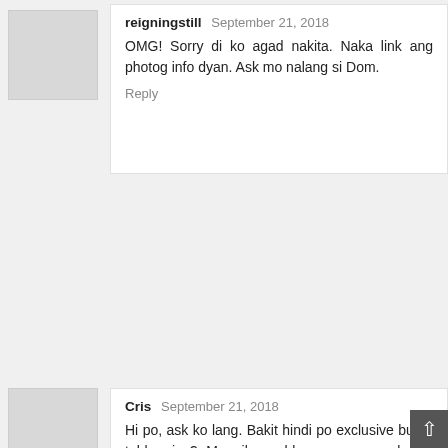reigningstill  September 21, 2018
OMG! Sorry di ko agad nakita. Naka link ang photog info dyan. Ask mo nalang si Dom.
Reply
Cris  September 21, 2018
Hi po, ask ko lang. Bakit hindi po exclusive buffet table niyo? May ibang blogs po na exclusive buffet table nila with Tramway.. Balak ko pa naman sa Tramway Bayview ang reception ng binyag ni baby ko next month. :(
Reply
reigningstill  September 21, 2018
Ah that's because I got the 900 private room lang. Its a private area pero shared buffet. If you want a private buffet table setup, you have to get pay 5K++. Sayang naman ang extra payment. Masaya naman kahit may kashare kami sa buffet. :)
Reply